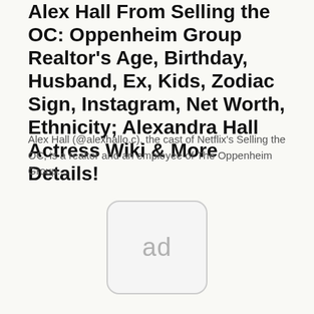Alex Hall From Selling the OC: Oppenheim Group Realtor's Age, Birthday, Husband, Ex, Kids, Zodiac Sign, Instagram, Net Worth, Ethnicity; Alexandra Hall Actress Wiki & More Details!
Alex Hall (@alexhallo.c), the cast of Netflix's Selling the OC, is a realtor and an employee of The Oppenheim Group....
[Figure (other): Advertisement placeholder box with 'ad' text inside a rounded rectangle]